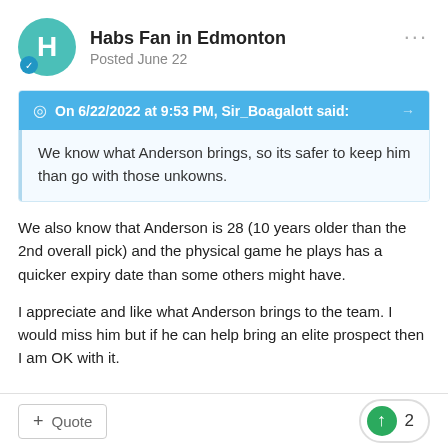Habs Fan in Edmonton
Posted June 22
On 6/22/2022 at 9:53 PM, Sir_Boagalott said:
We know what Anderson brings, so its safer to keep him than go with those unkowns.
We also know that Anderson is 28 (10 years older than the 2nd overall pick) and the physical game he plays has a quicker expiry date than some others might have.
I appreciate and like what Anderson brings to the team. I would miss him but if he can help bring an elite prospect then I am OK with it.
+ Quote
2